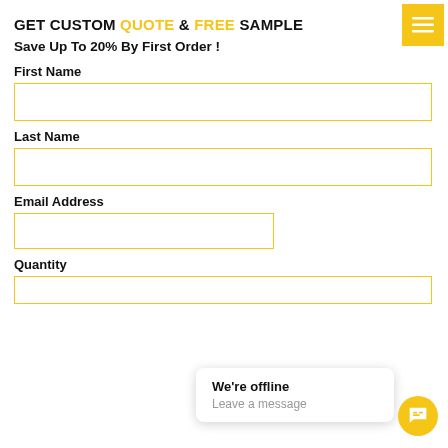GET CUSTOM QUOTE & FREE SAMPLE
Save Up To 20% By First Order !
First Name
Last Name
Email Address
Quantity